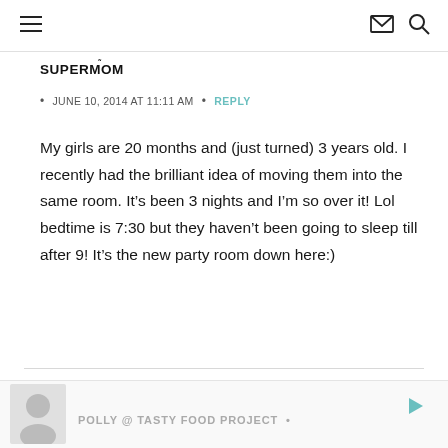[hamburger menu icon] [envelope icon] [search icon]
SUPERMOM
JUNE 10, 2014 AT 11:11 AM  •  REPLY
My girls are 20 months and (just turned) 3 years old. I recently had the brilliant idea of moving them into the same room. It's been 3 nights and I'm so over it! Lol bedtime is 7:30 but they haven't been going to sleep till after 9! It's the new party room down here:)
POLLY @ TASTY FOOD PROJECT •